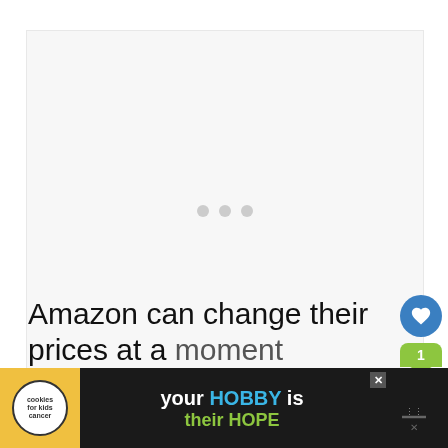[Figure (screenshot): Large light grey rectangular content area placeholder with three small grey loading dots centered in the middle]
[Figure (other): Blue circular button with white heart icon (like/favorite), and green share button with count badge showing '1']
Amazon can change their prices at a moment
[Figure (other): Dark advertisement banner at bottom showing 'cookies for kids cancer' logo with heart-shaped cookie image, and text 'your HOBBY is their HOPE' with close and menu icons]